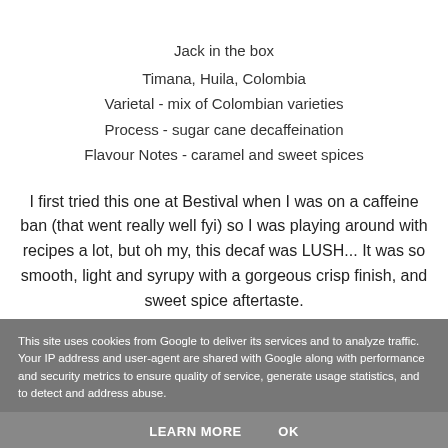Jack in the box
Timana, Huila, Colombia
Varietal - mix of Colombian varieties
Process - sugar cane decaffeination
Flavour Notes - caramel and sweet spices
I first tried this one at Bestival when I was on a caffeine ban (that went really well fyi) so I was playing around with recipes a lot, but oh my, this decaf was LUSH... It was so smooth, light and syrupy with a gorgeous crisp finish, and sweet spice aftertaste.
This site uses cookies from Google to deliver its services and to analyze traffic. Your IP address and user-agent are shared with Google along with performance and security metrics to ensure quality of service, generate usage statistics, and to detect and address abuse.
LEARN MORE    OK